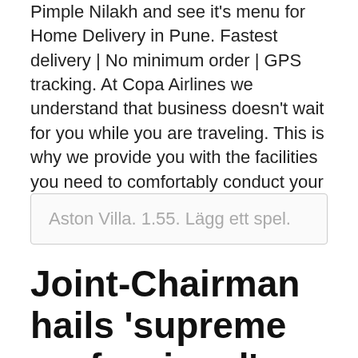Pimple Nilakh and see it's menu for Home Delivery in Pune. Fastest delivery | No minimum order | GPS tracking. At Copa Airlines we understand that business doesn't wait for you while you are traveling. This is why we provide you with the facilities you need to comfortably conduct your executive affairs.
Aston Villa. 1.55. Lägg ett spel.
Joint-Chairman hails 'supreme professional' Zabaleta West